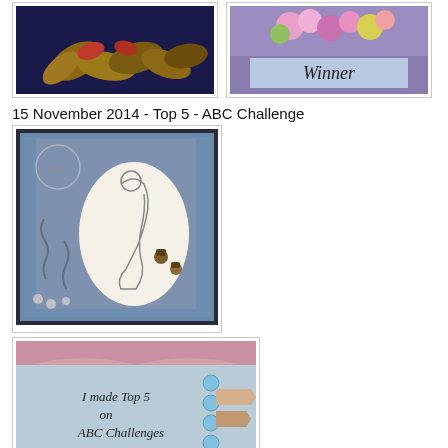[Figure (photo): Crafted card with autumn leaves decoration on dark blue background]
[Figure (photo): Winner badge with pink and yellow flowers on purple-blue background]
15 November 2014 - Top 5 - ABC Challenge
[Figure (photo): Handmade card with mermaid illustration on blue textured background with acorn embellishments]
[Figure (photo): Badge reading 'I made Top 5 on ABC Challenges' on light blue fabric background]
5 November 2014 - Winner - 3 Sisters Cem...